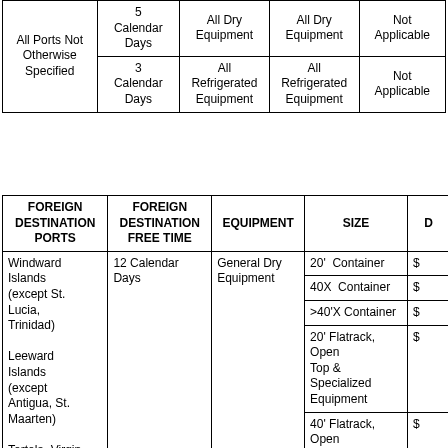|  |  | All Dry Equipment | All Dry Equipment | Not Applicable |
| --- | --- | --- | --- | --- |
| All Ports Not Otherwise Specified | 5 Calendar Days | All Dry Equipment | All Dry Equipment | Not Applicable |
| All Ports Not Otherwise Specified | 3 Calendar Days | All Refrigerated Equipment | All Refrigerated Equipment | Not Applicable |
| FOREIGN DESTINATION PORTS | FOREIGN DESTINATION FREE TIME | EQUIPMENT | SIZE | D |
| --- | --- | --- | --- | --- |
| Windward Islands (except St. Lucia, Trinidad)

Leeward Islands (except Antigua, St. Maarten)

Tortola, Virgin | 12 Calendar Days | General Dry Equipment | 20' Container | $ |
|  |  |  | 40X Container | $ |
|  |  |  | >40'X Container | $ |
|  |  |  | 20' Flatrack, Open Top & Specialized Equipment | $ |
|  |  |  | 40' Flatrack, Open Top & Specialized Equipment | $ |
|  | 6 Calendar Days | Refrigerated Containers/Tanks | 20' Reefer | $ |
|  |  |  | 40X Reefer | $ |
|  |  | Christmas Trees in |  |  |